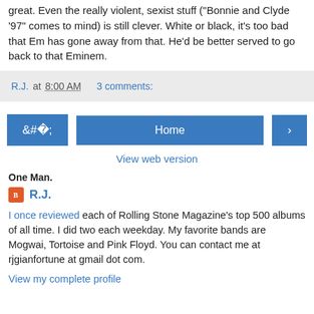great. Even the really violent, sexist stuff ("Bonnie and Clyde '97" comes to mind) is still clever. White or black, it's too bad that Em has gone away from that. He'd be better served to go back to that Eminem.
R.J. at 8:00 AM   3 comments:
Home
View web version
One Man.
R.J.
I once reviewed each of Rolling Stone Magazine's top 500 albums of all time. I did two each weekday. My favorite bands are Mogwai, Tortoise and Pink Floyd. You can contact me at rjgianfortune at gmail dot com.
View my complete profile